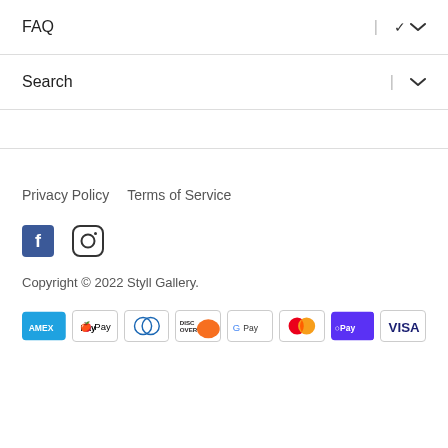FAQ
Search
Privacy Policy   Terms of Service
[Figure (illustration): Facebook and Instagram social media icons]
Copyright © 2022 Styll Gallery.
[Figure (illustration): Payment method icons: Amex, Apple Pay, Diners Club, Discover, Google Pay, Mastercard, Shop Pay, Visa]